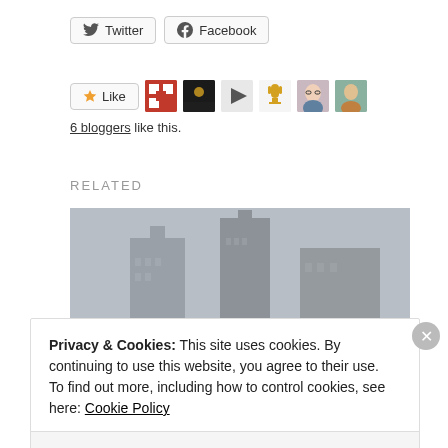[Figure (other): Twitter and Facebook share buttons]
[Figure (other): Like button with 6 blogger avatars including pattern, night photo, arrow, trophy, and two person photos]
6 bloggers like this.
RELATED
[Figure (photo): Photo of tall skyscrapers against an overcast grey sky]
Privacy & Cookies: This site uses cookies. By continuing to use this website, you agree to their use.
To find out more, including how to control cookies, see here: Cookie Policy
Close and accept